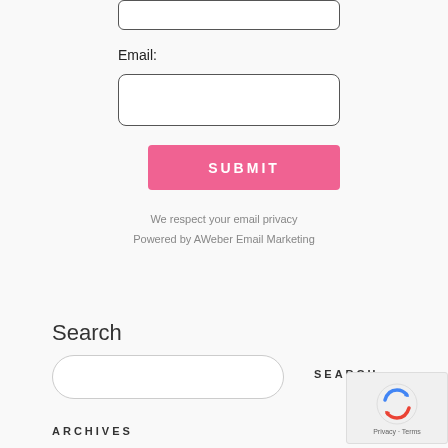Email:
[Figure (screenshot): Email input text field (empty, rounded rectangle border)]
[Figure (screenshot): Submit button, pink/hot-pink background, white text reading SUBMIT]
We respect your email privacy
Powered by AWeber Email Marketing
Search
[Figure (screenshot): Search input field, rounded pill shape, empty]
SEARCH
ARCHIVES
[Figure (screenshot): reCAPTCHA widget with Google logo, Privacy and Terms links]